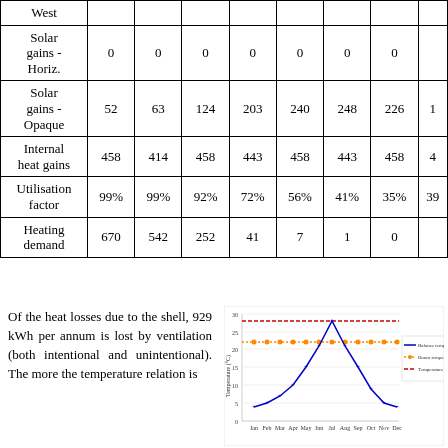|  | Jan | Feb | Mar | Apr | May | Jun | Jul | ... |
| --- | --- | --- | --- | --- | --- | --- | --- | --- |
| West |  |  |  |  |  |  |  |  |
| Solar gains - Horiz. | 0 | 0 | 0 | 0 | 0 | 0 | 0 |  |
| Solar gains - Opaque | 52 | 63 | 124 | 203 | 240 | 248 | 226 | 1 |
| Internal heat gains | 458 | 414 | 458 | 443 | 458 | 443 | 458 | 4 |
| Utilisation factor | 99% | 99% | 92% | 72% | 56% | 41% | 35% | 39 |
| Heating demand | 670 | 542 | 252 | 41 | 7 | 1 | 0 |  |
Of the heat losses due to the shell, 929 kWh per annum is lost by ventilation (both intentional and unintentional). The...
[Figure (line-chart): Line chart showing balance temperature, room temperature, and temperature limit across months]